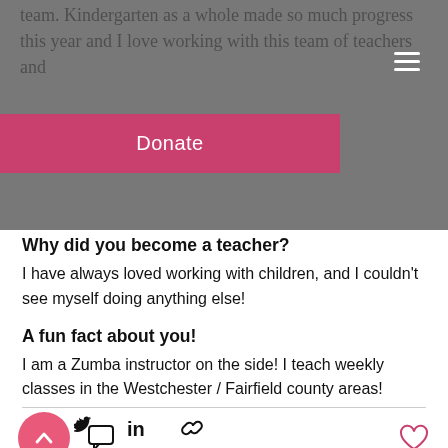team. Kindergarten as a whole made so much progress this year and I love working with this team of teachers and
Why did you become a teacher?
I have always loved working with children, and I couldn't see myself doing anything else!
A fun fact about you!
I am a Zumba instructor on the side! I teach weekly classes in the Westchester / Fairfield county areas!